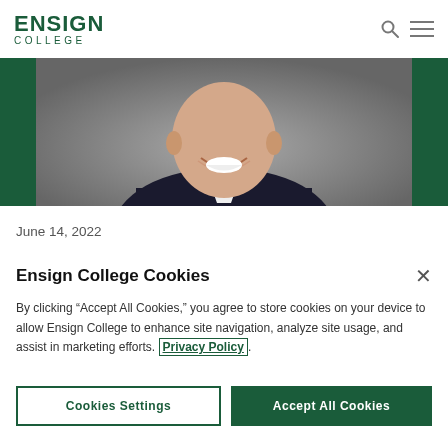ENSIGN COLLEGE
[Figure (photo): Partial photo of a smiling man in a suit, with green side panels on left and right edges of the banner image]
June 14, 2022
Ensign College Cookies
By clicking “Accept All Cookies,” you agree to store cookies on your device to allow Ensign College to enhance site navigation, analyze site usage, and assist in marketing efforts. Privacy Policy.
Cookies Settings   Accept All Cookies